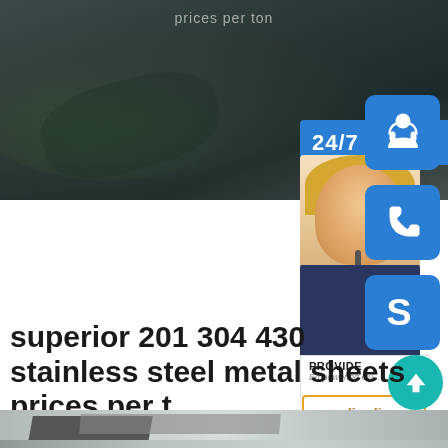prices per ton
[Figure (photo): Dark blurred background photo of metal/industrial material, top section of page]
[Figure (infographic): Customer service widget panel showing: 24/7 banner in blue, headset icon button, phone icon button, Skype icon button, customer service agent photo, PROVIDE / Empowering Customers text, orange-bordered 'online live' button]
superior 201 304 430 stainless steel metal sheets prices per ton
[Figure (photo): Bottom strip photo showing stainless steel metal sheets]